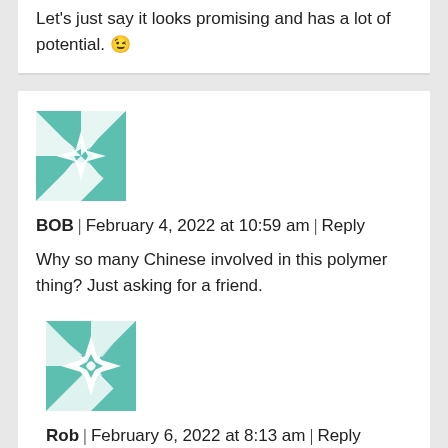Let's just say it looks promising and has a lot of potential. 😉
[Figure (illustration): Teal and white geometric quilt-pattern avatar for user BOB]
BOB | February 4, 2022 at 10:59 am | Reply
Why so many Chinese involved in this polymer thing? Just asking for a friend.
[Figure (illustration): Teal and white geometric quilt-pattern avatar for user Rob]
Rob | February 6, 2022 at 8:13 am | Reply
Have your friend Google :"Thousand